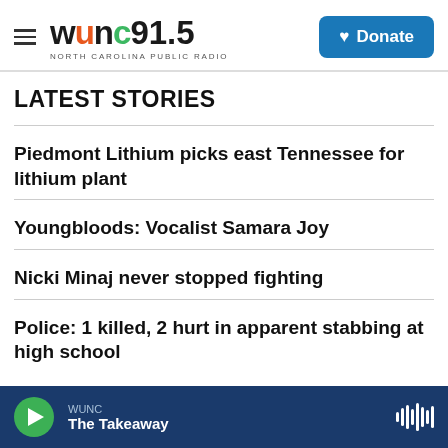WUNC 91.5 NORTH CAROLINA PUBLIC RADIO — Donate
LATEST STORIES
Piedmont Lithium picks east Tennessee for lithium plant
Youngbloods: Vocalist Samara Joy
Nicki Minaj never stopped fighting
Police: 1 killed, 2 hurt in apparent stabbing at high school
WUNC — The Takeaway